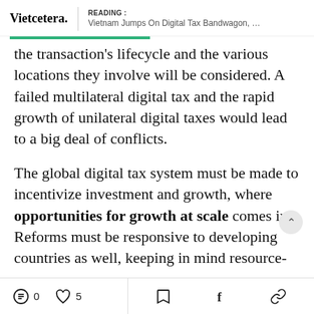Vietcetera. | READING : Vietnam Jumps On Digital Tax Bandwagon, Targets Big...
the transaction’s lifecycle and the various locations they involve will be considered. A failed multilateral digital tax and the rapid growth of unilateral digital taxes would lead to a big deal of conflicts.
The global digital tax system must be made to incentivize investment and growth, where opportunities for growth at scale comes in. Reforms must be responsive to developing countries as well, keeping in mind resource-
0  5  [bookmark]  [facebook]  [link]